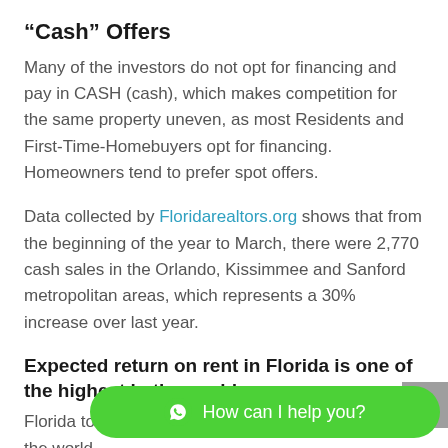“Cash” Offers
Many of the investors do not opt for financing and pay in CASH (cash), which makes competition for the same property uneven, as most Residents and First-Time-Homebuyers opt for financing. Homeowners tend to prefer spot offers.
Data collected by Floridarealtors.org shows that from the beginning of the year to March, there were 2,770 cash sales in the Orlando, Kissimmee and Sanford metropolitan areas, which represents a 30% increase over last year.
Expected return on rent in Florida is one of the highest in the world
Florida today offers one of the highest rental return in the world.